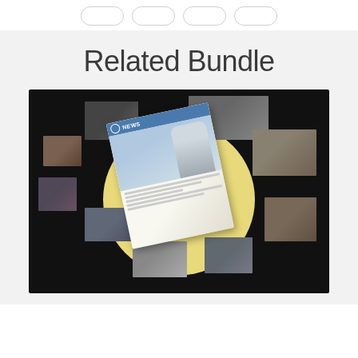[Figure (other): Four rounded rectangle button outlines in a row at the top of the page]
Related Bundle
[Figure (photo): Dark background promotional image showing a newspaper/magazine bundle with a yellow circle centerpiece and scattered magazine/newspaper thumbnail images around it]